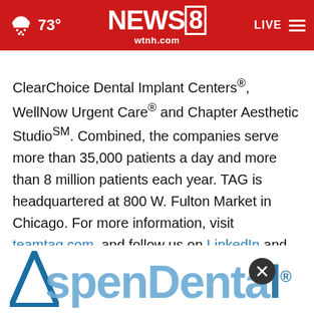73° NEWS8 wtnh.com LIVE
ClearChoice Dental Implant Centers®, WellNow Urgent Care® and Chapter Aesthetic Studio℠. Combined, the companies serve more than 35,000 patients a day and more than 8 million patients each year. TAG is headquartered at 800 W. Fulton Market in Chicago. For more information, visit teamtag.com, and follow us on LinkedIn and Twitter.
[Figure (logo): Aspen Dental logo partially visible at the bottom of the page with a close button overlay]